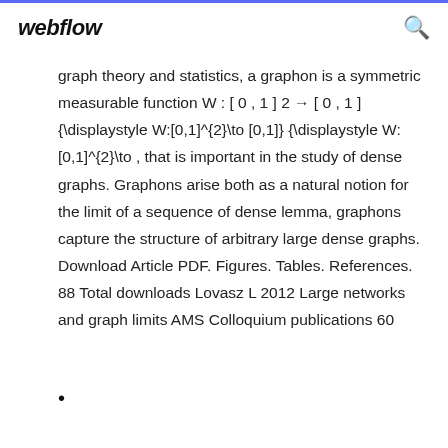webflow
graph theory and statistics, a graphon is a symmetric measurable function W : [ 0 , 1 ] 2 → [ 0 , 1 ] {\displaystyle W:[0,1]^{2}\to [0,1]} {\displaystyle W:[0,1]^{2}\to , that is important in the study of dense graphs. Graphons arise both as a natural notion for the limit of a sequence of dense lemma, graphons capture the structure of arbitrary large dense graphs. Download Article PDF. Figures. Tables. References. 88 Total downloads Lovasz L 2012 Large networks and graph limits AMS Colloquium publications 60
•